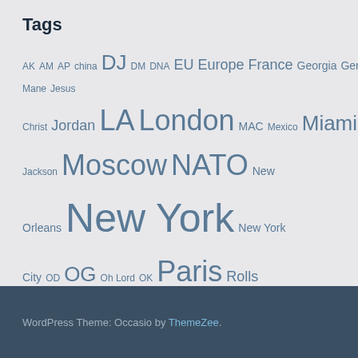Tags
AK AM AP china DJ DM DNA EU Europe France Georgia Germany Gucci Mane Jesus Christ Jordan LA London MAC Mexico Miami Michael Jackson Moscow NATO New Orleans New York New York City OD OG Oh Lord OK Paris Rolls Royce Rome Russia Saint Laurent Submit Lyrics Thank God TV Ty Dolla Ukraine United States US VIP VVS YSL
WordPress Theme: Occasio by ThemeZee.